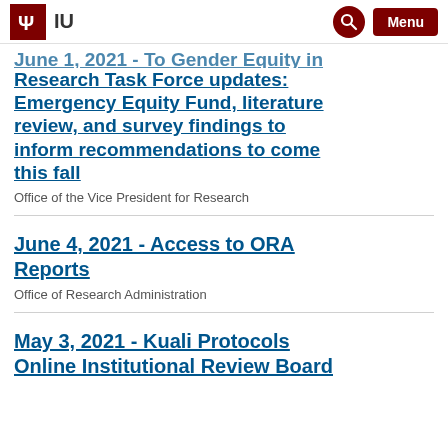IU | Indiana University
June 1, 2021 - To Gender Equity in Research Task Force updates: Emergency Equity Fund, literature review, and survey findings to inform recommendations to come this fall
Office of the Vice President for Research
June 4, 2021 - Access to ORA Reports
Office of Research Administration
May 3, 2021 - Kuali Protocols Online Institutional Review Board